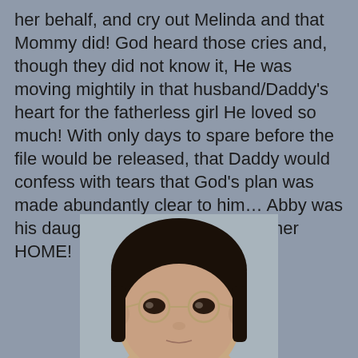her behalf, and cry out Melinda and that Mommy did!  God heard those cries and, though they did not know it, He was moving mightily in that husband/Daddy's heart for the fatherless girl He loved so much!  With only days to spare before the file would be released, that Daddy would confess with tears that God's plan was made abundantly clear to him…  Abby was his daughter!  It was time to bring her HOME!
[Figure (photo): Close-up photo of a young Asian child with dark bowl-cut hair and round thin-framed glasses, looking slightly downward]